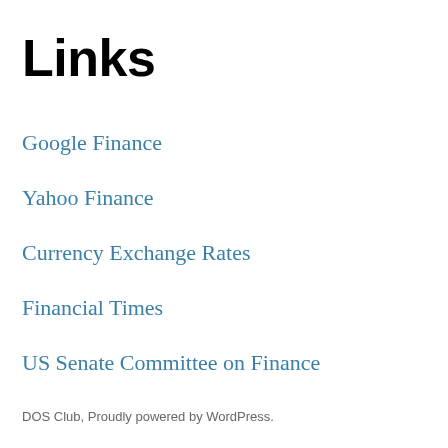Links
Google Finance
Yahoo Finance
Currency Exchange Rates
Financial Times
US Senate Committee on Finance
DOS Club, Proudly powered by WordPress.